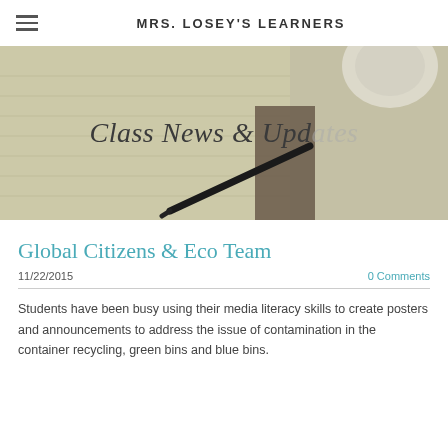MRS. LOSEY'S LEARNERS
[Figure (photo): Banner image showing an open notebook with a pen resting on it, with a coffee cup partially visible in the upper right corner. Text overlay reads 'Class News & Updates' in italic serif font.]
Global Citizens & Eco Team
11/22/2015
0 Comments
Students have been busy using their media literacy skills to create posters and announcements to address the issue of contamination in the container recycling, green bins and blue bins.